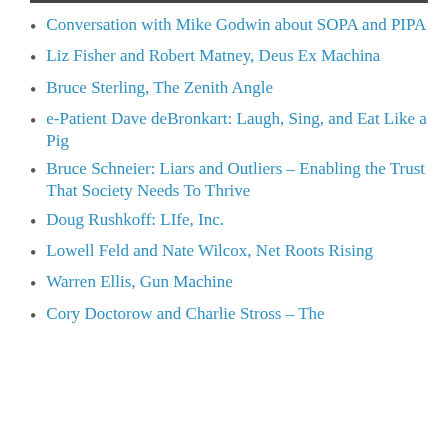Conversation with Mike Godwin about SOPA and PIPA
Liz Fisher and Robert Matney, Deus Ex Machina
Bruce Sterling, The Zenith Angle
e-Patient Dave deBronkart: Laugh, Sing, and Eat Like a Pig
Bruce Schneier: Liars and Outliers – Enabling the Trust That Society Needs To Thrive
Doug Rushkoff: LIfe, Inc.
Lowell Feld and Nate Wilcox, Net Roots Rising
Warren Ellis, Gun Machine
Cory Doctorow and Charlie Stross – The